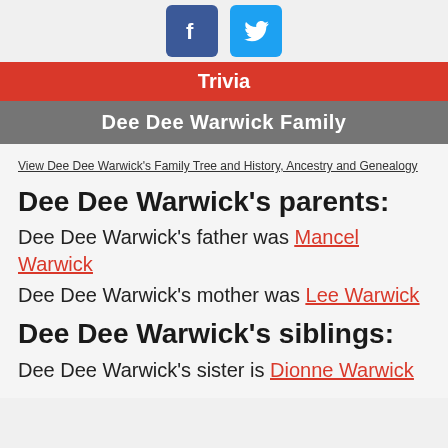[Figure (other): Social media icons: Facebook (blue) and Twitter (light blue) rounded square buttons]
Trivia
Dee Dee Warwick Family
View Dee Dee Warwick's Family Tree and History, Ancestry and Genealogy
Dee Dee Warwick's parents:
Dee Dee Warwick's father was Mancel Warwick
Dee Dee Warwick's mother was Lee Warwick
Dee Dee Warwick's siblings:
Dee Dee Warwick's sister is Dionne Warwick